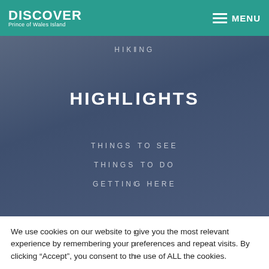DISCOVER Prince of Wales Island
HIKING
HIGHLIGHTS
THINGS TO SEE
THINGS TO DO
GETTING HERE
We use cookies on our website to give you the most relevant experience by remembering your preferences and repeat visits. By clicking “Accept”, you consent to the use of ALL the cookies.
Cookie settings
ACCEPT